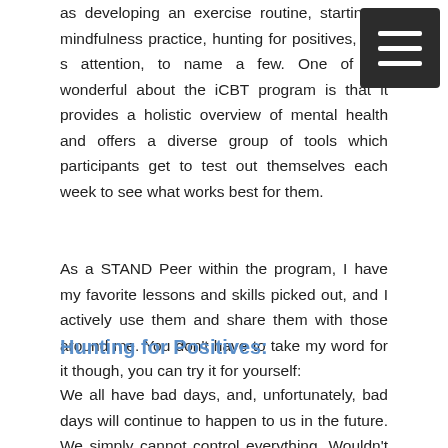as developing an exercise routine, starting a mindfulness practice, hunting for positives, and s attention, to name a few. One of the wonderful about the iCBT program is that it provides a holistic overview of mental health and offers a diverse group of tools which participants get to test out themselves each week to see what works best for them.
As a STAND Peer within the program, I have my favorite lessons and skills picked out, and I actively use them and share them with those around me. You don't have to take my word for it though, you can try it for yourself:
Hunting for Positives:
We all have bad days, and, unfortunately, bad days will continue to happen to us in the future. We simply cannot control everything. Wouldn't it be nice though if